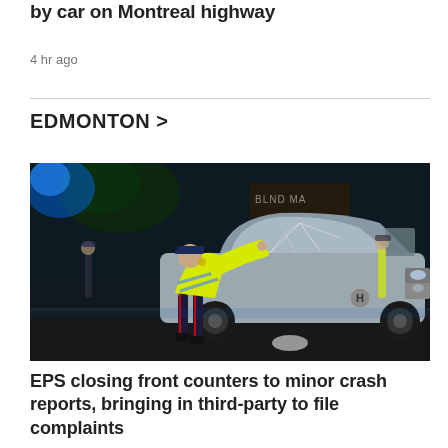by car on Montreal highway
4 hr ago
EDMONTON >
[Figure (photo): Night-time photo of a police officer in a yellow high-visibility jacket examining a silver Honda Civic with a shattered windshield. Other officers are visible in the background. The scene appears to be a roadway or parking area at night.]
EPS closing front counters to minor crash reports, bringing in third-party to file complaints